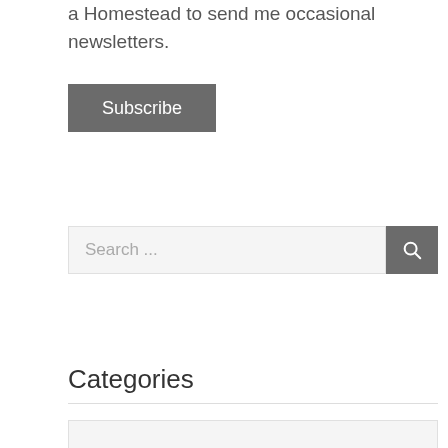a Homestead to send me occasional newsletters.
[Figure (other): Subscribe button — dark gray rectangular button with white text 'Subscribe']
[Figure (other): Search bar with placeholder text 'Search ...' and a dark gray search button with magnifying glass icon]
Categories